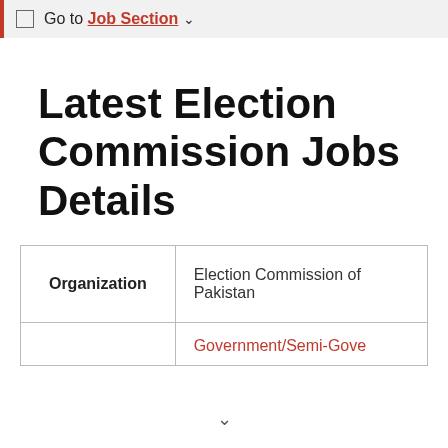Go to Job Section
Latest Election Commission Jobs Details
| Organization |  |
| --- | --- |
| Organization | Election Commission of Pakistan |
|  | Government/Semi-Gove... |